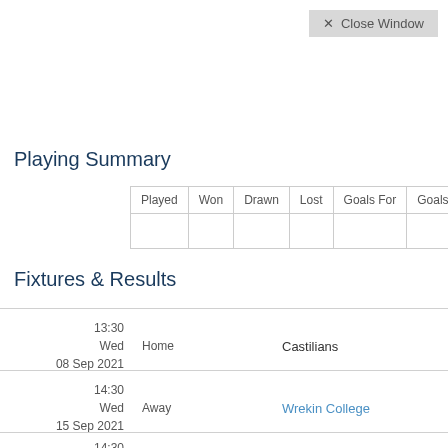× Close Window
Playing Summary
| Played | Won | Drawn | Lost | Goals For | Goals Against |
| --- | --- | --- | --- | --- | --- |
|  |  |  |  |  |  |
Fixtures & Results
13:30 Wed 08 Sep 2021  Home  Castilians
14:30 Wed 15 Sep 2021  Away  Wrekin College
14:30